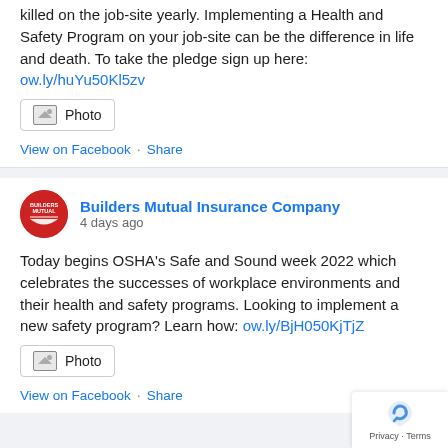killed on the job-site yearly. Implementing a Health and Safety Program on your job-site can be the difference in life and death. To take the pledge sign up here: ow.ly/huYu50Kl5zv
[Figure (screenshot): Photo button with image icon]
View on Facebook · Share
[Figure (logo): Builders Mutual Insurance Company circular red logo with white text]
Builders Mutual Insurance Company
4 days ago
Today begins OSHA's Safe and Sound week 2022 which celebrates the successes of workplace environments and their health and safety programs. Looking to implement a new safety program? Learn how: ow.ly/BjH050KjTjZ
[Figure (screenshot): Photo button with image icon]
View on Facebook · Share